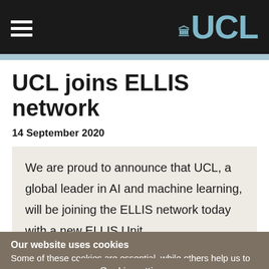UCL logo and navigation
UCL joins ELLIS network
14 September 2020
We are proud to announce that UCL, a global leader in AI and machine learning, will be joining the ELLIS network today with a new ELLIS Unit.
Cookie settings
Our website uses cookies
Some of these cookies are essential, while others help us to